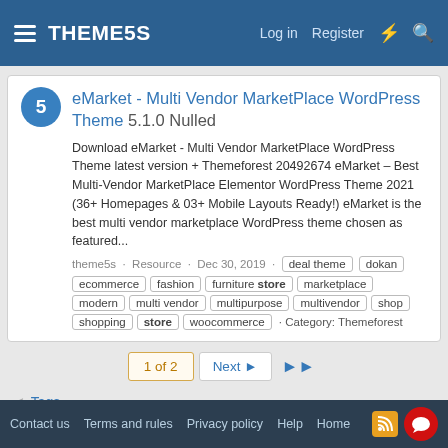THEME5S — Log in  Register
eMarket - Multi Vendor MarketPlace WordPress Theme 5.1.0 Nulled
Download eMarket - Multi Vendor MarketPlace WordPress Theme latest version + Themeforest 20492674 eMarket – Best Multi-Vendor MarketPlace Elementor WordPress Theme 2021 (36+ Homepages & 03+ Mobile Layouts Ready!) eMarket is the best multi vendor marketplace WordPress theme chosen as featured...
theme5s · Resource · Dec 30, 2019 · deal theme  dokan  ecommerce  fashion  furniture store  marketplace  modern  multi vendor  multipurpose  multivendor  shop  shopping  store  woocommerce · Category: Themeforest
1 of 2  Next  ▶▶
< Tags
Contact us  Terms and rules  Privacy policy  Help  Home